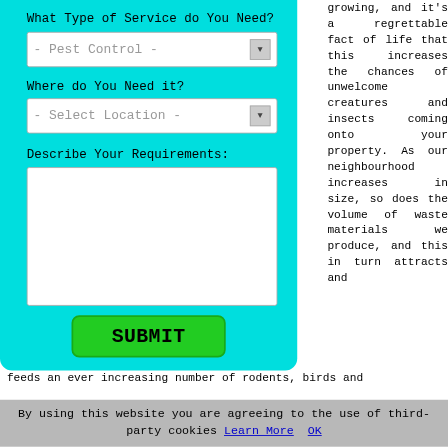What Type of Service do You Need?
[Figure (screenshot): Dropdown select box with placeholder '- Pest Control -']
Where do You Need it?
[Figure (screenshot): Dropdown select box with placeholder '- Select Location -']
Describe Your Requirements:
[Figure (screenshot): Empty textarea for user input]
[Figure (screenshot): Green SUBMIT button]
growing, and it's a regrettable fact of life that this increases the chances of unwelcome creatures and insects coming onto your property. As our neighbourhood increases in size, so does the volume of waste materials we produce, and this in turn attracts and
feeds an ever increasing number of rodents, birds and
By using this website you are agreeing to the use of third-party cookies Learn More OK